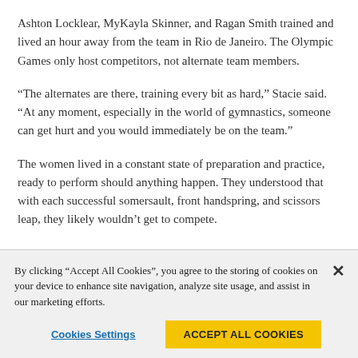Ashton Locklear, MyKayla Skinner, and Ragan Smith trained and lived an hour away from the team in Rio de Janeiro. The Olympic Games only host competitors, not alternate team members.
“The alternates are there, training every bit as hard,” Stacie said. “At any moment, especially in the world of gymnastics, someone can get hurt and you would immediately be on the team.”
The women lived in a constant state of preparation and practice, ready to perform should anything happen. They understood that with each successful somersault, front handspring, and scissors leap, they likely wouldn’t get to compete.
By clicking “Accept All Cookies”, you agree to the storing of cookies on your device to enhance site navigation, analyze site usage, and assist in our marketing efforts.
Cookies Settings
Accept All Cookies